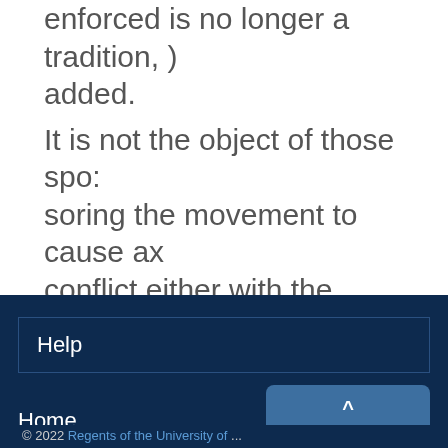enforced is no longer a tradition, ) added. It is not the object of those spo: soring the movement to cause ax conflict either with the fraternit or the Student Council, according statements by all members of tl centra1 nmmittee The nhiet nf t
Help
Home
Back to Top
© 2022 Regents of the University of ...